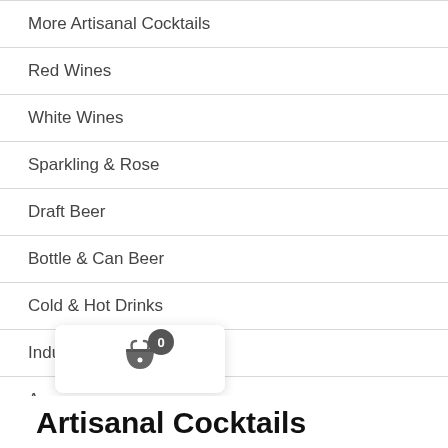More Artisanal Cocktails
Red Wines
White Wines
Sparkling & Rose
Draft Beer
Bottle & Can Beer
Cold & Hot Drinks
Indulge Dessert Drinks
Amaros
Cognac
Sc
[Figure (other): Shopping cart icon with badge showing 0 items]
Artisanal Cocktails